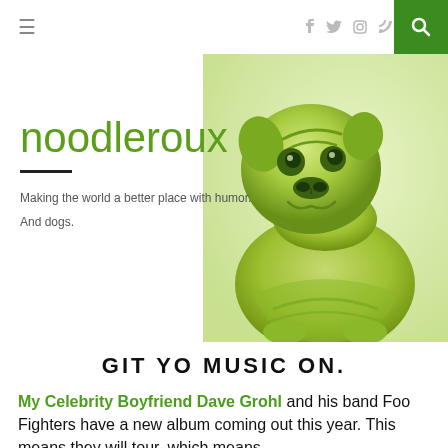≡  f  🐦  📷  )))  🔍
noodleroux
Making the world a better place with humor.
And dogs.
[Figure (photo): Green-tinted photo of a pug dog figurine or toy, viewed from slightly above, occupying the right side of the hero banner.]
GIT YO MUSIC ON.
My Celebrity Boyfriend Dave Grohl and his band Foo Fighters have a new album coming out this year. This means they will tour, which means…